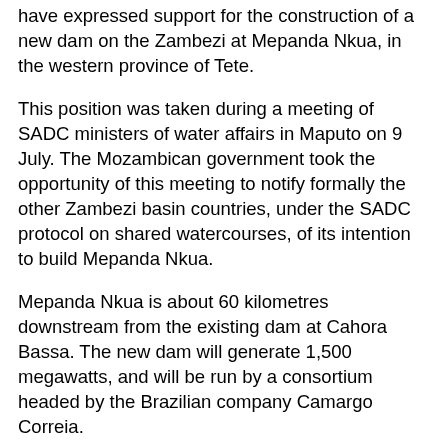have expressed support for the construction of a new dam on the Zambezi at Mepanda Nkua, in the western province of Tete.
This position was taken during a meeting of SADC ministers of water affairs in Maputo on 9 July. The Mozambican government took the opportunity of this meeting to notify formally the other Zambezi basin countries, under the SADC protocol on shared watercourses, of its intention to build Mepanda Nkua.
Mepanda Nkua is about 60 kilometres downstream from the existing dam at Cahora Bassa. The new dam will generate 1,500 megawatts, and will be run by a consortium headed by the Brazilian company Camargo Correia.
Mozambique's National Director of Waters, Juliao Alferes, told reporters that there were no discordant voices. The other SADC members were all in favour of building the dam. The Angolan National Director of Water Resources, Lucrecio Costa, said Mepanda Mkua would increase the supply of power for the region, and could attract new investments, and hence more jobs.
At the opening of the meeting, Mozambican Prime Minister Luisa Diogo stressed the importance of cooperation between